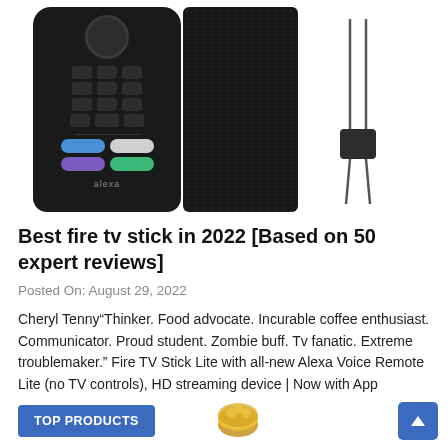[Figure (photo): Three product images: a black Fire TV remote control with colored buttons, a black Fire TV Stick with textured surface, and a black wrist strap/lanyard]
Best fire tv stick in 2022 [Based on 50 expert reviews]
Posted On: August 29, 2022
Cheryl Tenny"Thinker. Food advocate. Incurable coffee enthusiast. Communicator. Proud student. Zombie buff. Tv fanatic. Extreme troublemaker." Fire TV Stick Lite with all-new Alexa Voice Remote Lite (no TV controls), HD streaming device | Now with App controls Rs. 3,999 Rs.
TOP PRODUCTS